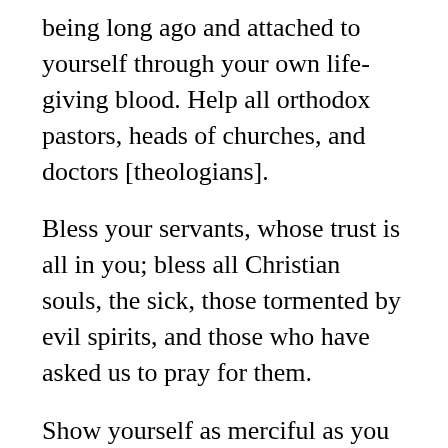being long ago and attached to yourself through your own life-giving blood. Help all orthodox pastors, heads of churches, and doctors [theologians].
Bless your servants, whose trust is all in you; bless all Christian souls, the sick, those tormented by evil spirits, and those who have asked us to pray for them.
Show yourself as merciful as you are rich in grace; save and preserve us; enable us to obtain those good things to come which will never know an end.
May we celebrate your glorious birth, and the Father who sent you to redeem us, and your